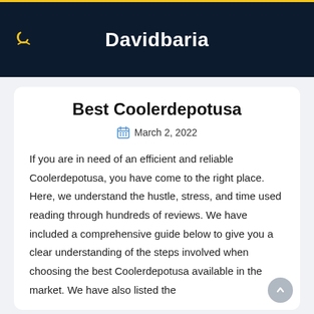Davidbaria
Best Coolerdepotusa
March 2, 2022
If you are in need of an efficient and reliable Coolerdepotusa, you have come to the right place. Here, we understand the hustle, stress, and time used reading through hundreds of reviews. We have included a comprehensive guide below to give you a clear understanding of the steps involved when choosing the best Coolerdepotusa available in the market. We have also listed the